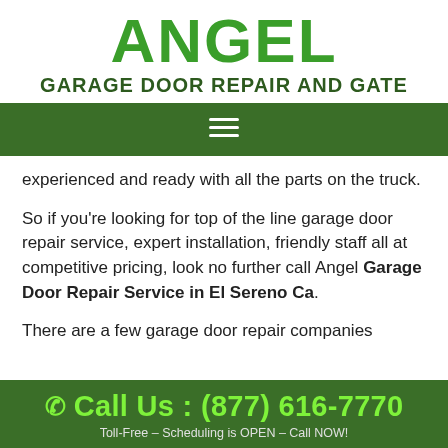ANGEL GARAGE DOOR REPAIR AND GATE
[Figure (other): Hamburger menu navigation bar with dark green background and three horizontal white lines icon]
experienced and ready with all the parts on the truck.
So if you're looking for top of the line garage door repair service, expert installation, friendly staff all at competitive pricing, look no further call Angel Garage Door Repair Service in El Sereno Ca.
There are a few garage door repair companies
Call Us : (877) 616-7770
Toll-Free – Scheduling is OPEN – Call NOW!